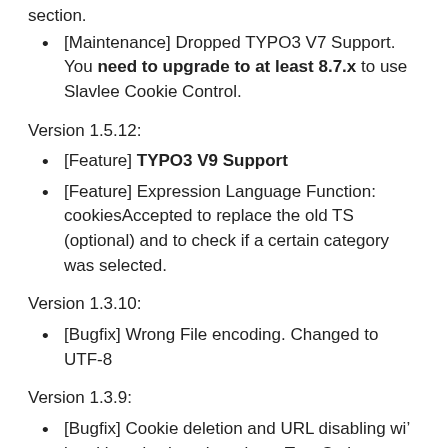section.
[Maintenance] Dropped TYPO3 V7 Support. You need to upgrade to at least 8.7.x to use Slavlee Cookie Control.
Version 1.5.12:
[Feature] TYPO3 V9 Support
[Feature] Expression Language Function: cookiesAccepted to replace the old TS (optional) and to check if a certain category was selected.
Version 1.3.10:
[Bugfix] Wrong File encoding. Changed to UTF-8
Version 1.3.9:
[Bugfix] Cookie deletion and URL disabling will be skipped, when there is no TypoScript settings.
Version 1.3.8: